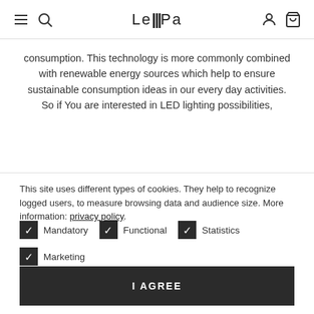LeMPA (nav bar with menu, search, user, cart icons)
consumption. This technology is more commonly combined with renewable energy sources which help to ensure sustainable consumption ideas in our every day activities.
So if You are interested in LED lighting possibilities,
This site uses different types of cookies. They help to recognize logged users, to measure browsing data and audience size. More information: privacy policy.
✓ Mandatory  ✓ Functional  ✓ Statistics
✓ Marketing
Show more information ∨
I AGREE